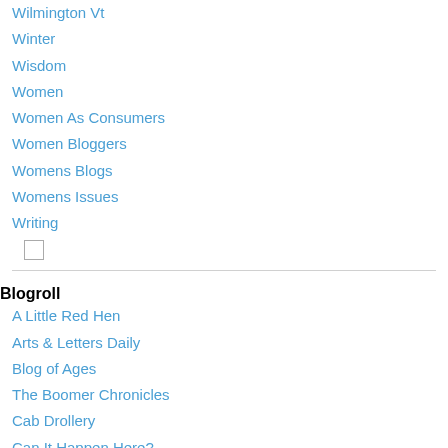Wilmington Vt
Winter
Wisdom
Women
Women As Consumers
Women Bloggers
Womens Blogs
Womens Issues
Writing
Blogroll
A Little Red Hen
Arts & Letters Daily
Blog of Ages
The Boomer Chronicles
Cab Drollery
Can It Happen Here?
Cogitamus